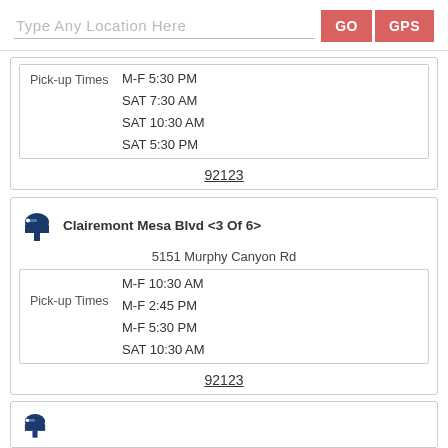Type Any Location Here | GO | GPS
Pick-up Times
M-F 5:30 PM
SAT 7:30 AM
SAT 10:30 AM
SAT 5:30 PM
92123
Clairemont Mesa Blvd <3 Of 6>
5151 Murphy Canyon Rd
Pick-up Times
M-F 10:30 AM
M-F 2:45 PM
M-F 5:30 PM
SAT 10:30 AM
92123